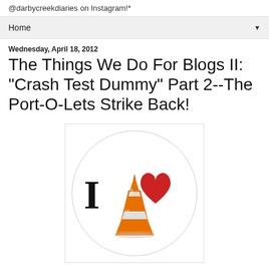@darbycreekdiaries on Instagram!*
Home
Wednesday, April 18, 2012
The Things We Do For Blogs II: "Crash Test Dummy" Part 2--The Port-O-Lets Strike Back!
[Figure (illustration): A circular sticker-style image showing 'I [traffic cone] [heart]' with an orange traffic cone in the center, the letter I on the left and a red heart on the right, inside a white circle with a light gray border.]